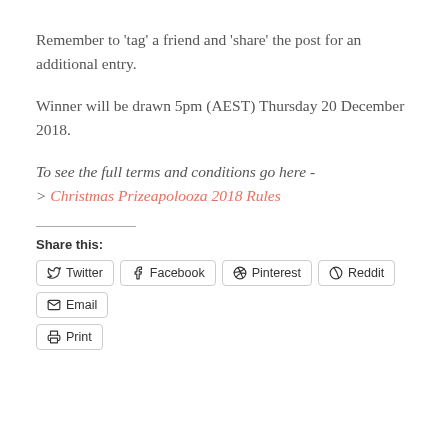Remember to 'tag' a friend and 'share' the post for an additional entry.
Winner will be drawn 5pm (AEST) Thursday 20 December 2018.
To see the full terms and conditions go here -> Christmas Prizeapolooza 2018 Rules
Share this:
Twitter  Facebook  Pinterest  Reddit  Email
Print